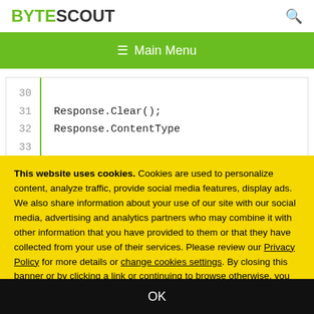BYTESCOUT
≡ Main Menu
[Figure (screenshot): Code editor snippet showing line numbers 30, 31, 32, 33 with code: Response.Clear(); Response.ContentType]
This website uses cookies. Cookies are used to personalize content, analyze traffic, provide social media features, display ads. We also share information about your use of our site with our social media, advertising and analytics partners who may combine it with other information that you have provided to them or that they have collected from your use of their services. Please review our Privacy Policy for more details or change cookies settings. By closing this banner or by clicking a link or continuing to browse otherwise, you consent to our cookies.
OK